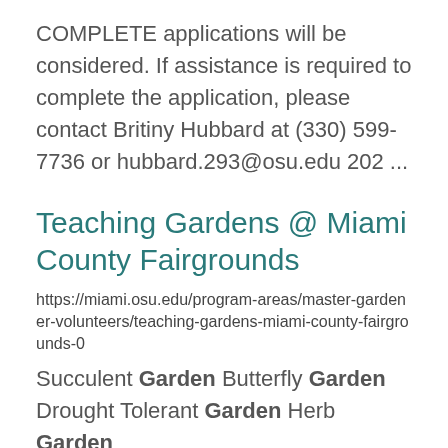COMPLETE applications will be considered. If assistance is required to complete the application, please contact Britiny Hubbard at (330) 599-7736 or hubbard.293@osu.edu 202 ...
Teaching Gardens @ Miami County Fairgrounds
https://miami.osu.edu/program-areas/master-gardener-volunteers/teaching-gardens-miami-county-fairgrounds-0
Succulent Garden Butterfly Garden Drought Tolerant Garden Herb Garden Click on each garden for ... a complete list of plants and growing information. The